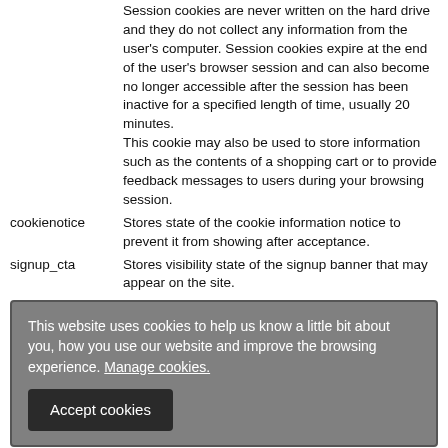| Cookie name | Description |
| --- | --- |
|  | Session cookies are never written on the hard drive and they do not collect any information from the user's computer. Session cookies expire at the end of the user's browser session and can also become no longer accessible after the session has been inactive for a specified length of time, usually 20 minutes.
This cookie may also be used to store information such as the contents of a shopping cart or to provide feedback messages to users during your browsing session. |
| cookienotice | Stores state of the cookie information notice to prevent it from showing after acceptance. |
| signup_cta | Stores visibility state of the signup banner that may appear on the site. |
This website uses cookies to help us know a little bit about you, how you use our website and improve the browsing experience. Manage cookies.
Accept cookies
information they produce to set one or more than their individual